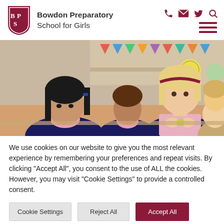[Figure (logo): Bowdon Preparatory School for Girls shield logo with BPS letters and school name text]
[Figure (photo): Girls in school uniforms (navy pinafore, pink shirt) sitting at classroom tables doing an activity, with colourful wall displays in the background]
We use cookies on our website to give you the most relevant experience by remembering your preferences and repeat visits. By clicking "Accept All", you consent to the use of ALL the cookies. However, you may visit "Cookie Settings" to provide a controlled consent.
Cookie Settings | Reject All | Accept All